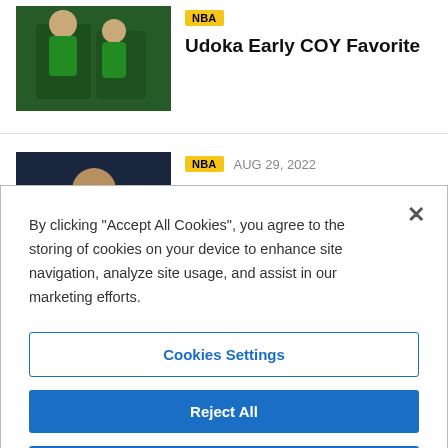[Figure (photo): Thumbnail photo of people in green Celtics attire]
Udoka Early COY Favorite
[Figure (photo): Thumbnail photo of Banchero at press conference]
NBA  AUG 29, 2022
Banchero Still ROY Favorite?
By clicking “Accept All Cookies”, you agree to the storing of cookies on your device to enhance site navigation, analyze site usage, and assist in our marketing efforts.
Cookies Settings
Reject All
Accept All Cookies